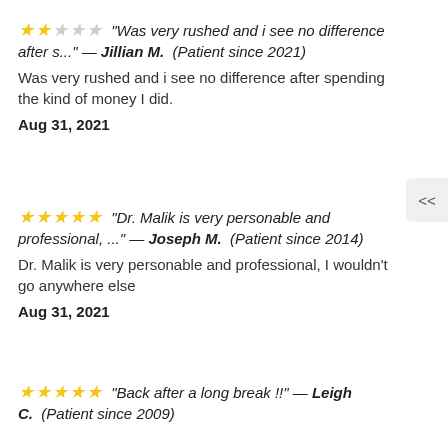★★☆☆☆ "Was very rushed and i see no difference after s..." — Jillian M. (Patient since 2021)
Was very rushed and i see no difference after spending the kind of money I did.
Aug 31, 2021
★★★★★ "Dr. Malik is very personable and professional, ..." — Joseph M. (Patient since 2014)
Dr. Malik is very personable and professional, I wouldn't go anywhere else
Aug 31, 2021
★★★★★ "Back after a long break !!" — Leigh C. (Patient since 2009)